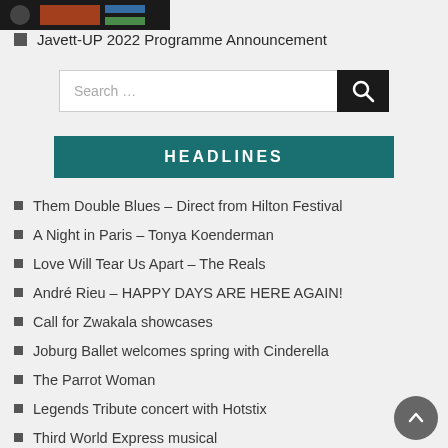[Figure (photo): Partial screenshot/image at top left of page, dark background with colorful content]
Javett-UP 2022 Programme Announcement
[Figure (screenshot): Search bar with text 'Search …' and a black search button with magnifying glass icon]
HEADLINES
Them Double Blues – Direct from Hilton Festival
A Night in Paris – Tonya Koenderman
Love Will Tear Us Apart – The Reals
André Rieu – HAPPY DAYS ARE HERE AGAIN!
Call for Zwakala showcases
Joburg Ballet welcomes spring with Cinderella
The Parrot Woman
Legends Tribute concert with Hotstix
Third World Express musical